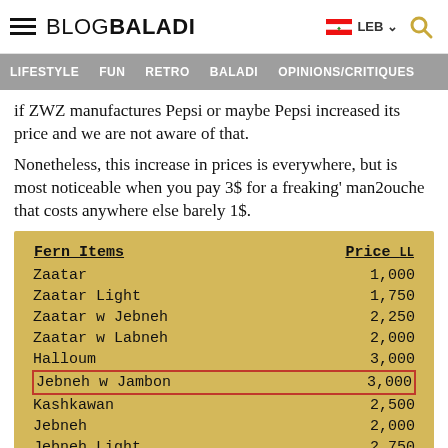BLOGBALADI — LEB
LIFESTYLE  FUN  RETRO  BALADI  OPINIONS/CRITIQUES
if ZWZ manufactures Pepsi or maybe Pepsi increased its price and we are not aware of that.
Nonetheless, this increase in prices is everywhere, but is most noticeable when you pay 3$ for a freaking' man2ouche that costs anywhere else barely 1$.
| Fern Items | Price LL |
| --- | --- |
| Zaatar | 1,000 |
| Zaatar Light | 1,750 |
| Zaatar w Jebneh | 2,250 |
| Zaatar w Labneh | 2,000 |
| Halloum | 3,000 |
| Jebneh w Jambon | 3,000 |
| Kashkawan | 2,500 |
| Jebneh | 2,000 |
| Jebneh Light | 2,750 |